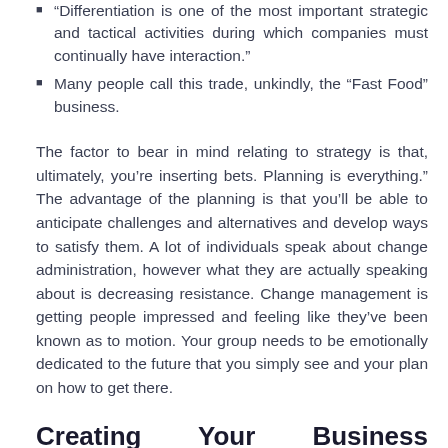"Differentiation is one of the most important strategic and tactical activities during which companies must continually have interaction."
Many people call this trade, unkindly, the “Fast Food” business.
The factor to bear in mind relating to strategy is that, ultimately, you’re inserting bets. Planning is everything.” The advantage of the planning is that you’ll be able to anticipate challenges and alternatives and develop ways to satisfy them. A lot of individuals speak about change administration, however what they are actually speaking about is decreasing resistance. Change management is getting people impressed and feeling like they’ve been known as to motion. Your group needs to be emotionally dedicated to the future that you simply see and your plan on how to get there.
Creating Your Business Strategy